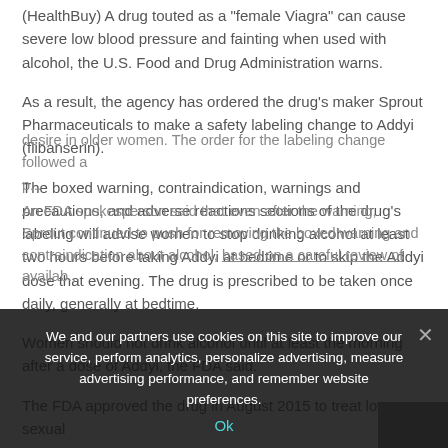(HealthDay) A drug touted as a 'female Viagra' can cause severe low blood pressure and fainting when used with alcohol, the U.S. Food and Drug Administration warns.
As a result, the agency has ordered the drug's maker Sprout Pharmaceuticals to make a safety labeling change to Addyi (flibanserin).
The boxed warning, contraindication, warnings and precautions, and adverse reactions sections of the drug's labeling will advise women to stop drinking alcohol at least two hours before taking Addyi at bedtime or to skip the Addyi dose that evening. The drug is prescribed to be taken once daily, generally at bedtime.
Women should not drink alcohol until at least the morning after a dose of Addyi, the FDA said.
The FDA approved the drug in August 2015 to treat low sexual desire in older women. The order for the labeling change followed a...
An FDA spokesperson said that even after the warning, Sprout continued to push for removing the boxed warning and contraindication about alcohol, based on a careful review of available...
We and our partners use cookies on this site to improve our service, perform analytics, personalize advertising, measure advertising performance, and remember website preferences.